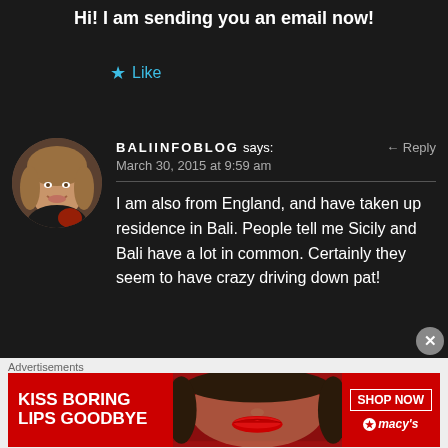Hi! I am sending you an email now!
Like
BALIINFOBLOG says:
March 30, 2015 at 9:59 am
Reply
I am also from England, and have taken up residence in Bali. People tell me Sicily and Bali have a lot in common. Certainly they seem to have crazy driving down pat!
[Figure (photo): Round avatar photo of a woman with shoulder-length blonde hair, smiling, wearing a black top with red accents]
Advertisements
[Figure (other): Macy's advertisement banner: KISS BORING LIPS GOODBYE with SHOP NOW button and Macy's star logo, dark red background with woman's face showing red lips]